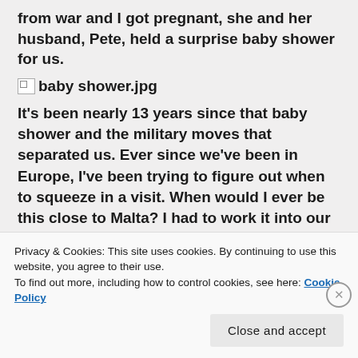from war and I got pregnant, she and her husband, Pete, held a surprise baby shower for us.
[Figure (photo): Broken image placeholder labeled 'baby shower.jpg']
It's been nearly 13 years since that baby shower and the military moves that separated us. Ever since we've been in Europe, I've been trying to figure out when to squeeze in a visit. When would I ever be this close to Malta? I had to work it into our travels.
[Figure (photo): Partial photo with blue-purple gradient background and a brown box/door visible]
Privacy & Cookies: This site uses cookies. By continuing to use this website, you agree to their use.
To find out more, including how to control cookies, see here: Cookie Policy